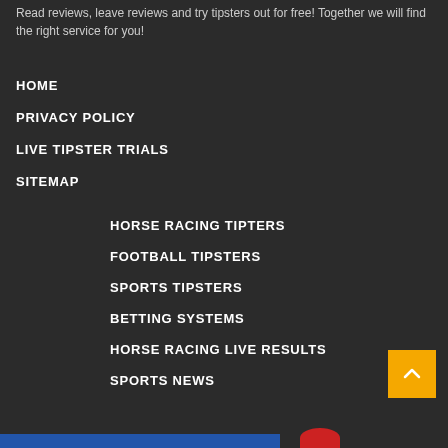Read reviews, leave reviews and try tipsters out for free! Together we will find the right service for you!
HOME
PRIVACY POLICY
LIVE TIPSTER TRIALS
SITEMAP
HORSE RACING TIPTERS
FOOTBALL TIPSTERS
SPORTS TIPSTERS
BETTING SYSTEMS
HORSE RACING LIVE RESULTS
SPORTS NEWS